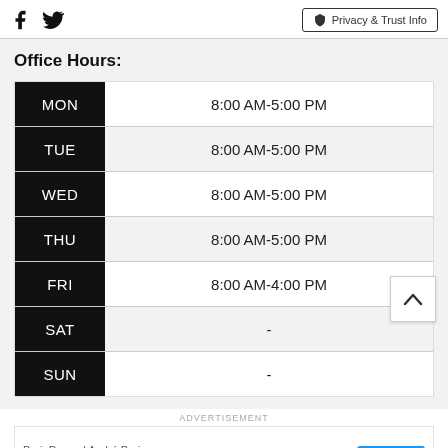Facebook Twitter Privacy & Trust Info
Office Hours:
| Day | Hours |
| --- | --- |
| MON | 8:00 AM-5:00 PM |
| TUE | 8:00 AM-5:00 PM |
| WED | 8:00 AM-5:00 PM |
| THU | 8:00 AM-5:00 PM |
| FRI | 8:00 AM-4:00 PM |
| SAT | - |
| SUN | - |
ADVERTISEMENT
[Figure (other): Advertisement banner: BrainPower | André Buric — Faltam Apenas 3 dias — ABRIR button]